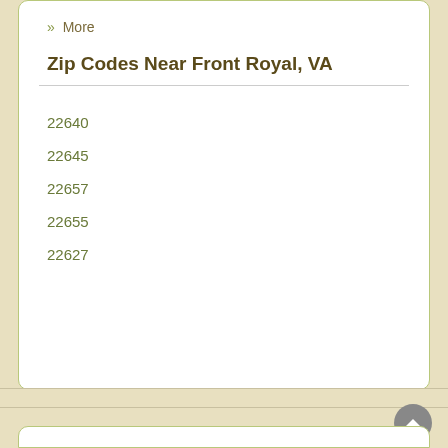» More
Zip Codes Near Front Royal, VA
22640
22645
22657
22655
22627